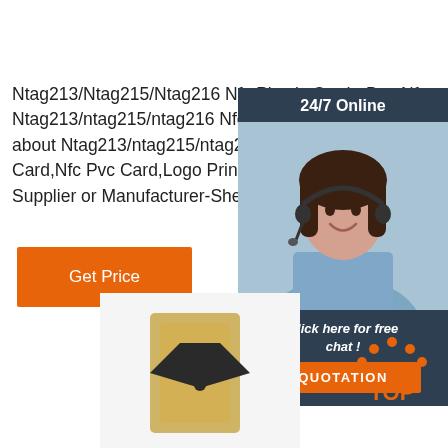Ntag213/Ntag215/Ntag216 Nfc Plastic Card - Buy Nfc Ntag213/ntag215/ntag216 Nfc Plastic Card, Find Complete Details about Ntag213/ntag215/ntag216 Nfc Plastic Card,Nfc Card,Nfc Pvc Card,Logo Print Nfc Card from Access Supplier or Manufacturer-Shenzhen Focused Smart
[Figure (screenshot): 24/7 Online chat widget with a woman wearing a headset, dark blue background, 'Click here for free chat!' text, and orange QUOTATION button]
[Figure (illustration): Orange and white 'TOP' icon with orange dots forming an arc above the text]
[Figure (photo): Partial photo of what appears to be a graduation cap and diploma at the bottom of the page]